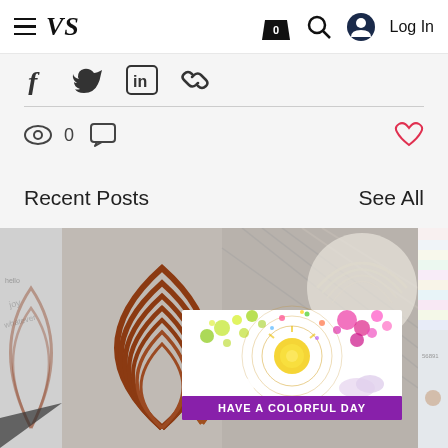VS — navigation bar with hamburger menu, logo VS, bag icon (0), search icon, user icon, Log In
[Figure (screenshot): Social share icons: Facebook, Twitter, LinkedIn, and a link/copy icon]
[Figure (screenshot): Views count: eye icon with 0, comment icon; heart/like icon on the right (red outline)]
Recent Posts
See All
[Figure (photo): Three partially visible blog post thumbnail images in a horizontal strip. Center image shows a colorful splatter card reading 'HAVE A COLORFUL DAY' overlaid on a rainbow arch die-cut craft project photo. Left image partially shows a white embossed design. Right image partially shows a pastel striped background with a small decorative element.]